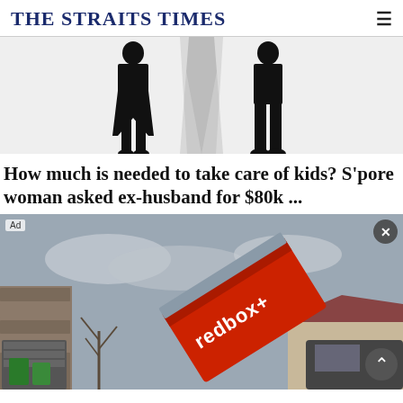THE STRAITS TIMES
[Figure (illustration): Black silhouette illustration of two people (adult figures) with a torn paper effect down the middle, suggesting separation or divorce, on a light grey background.]
How much is needed to take care of kids? S'pore woman asked ex-husband for $80k ...
[Figure (photo): Advertisement photo showing a red redbox+ dumpster being lifted by a truck in front of a residential home. Ad label in top left, close (X) button top right, and scroll-up arrow button at bottom right.]